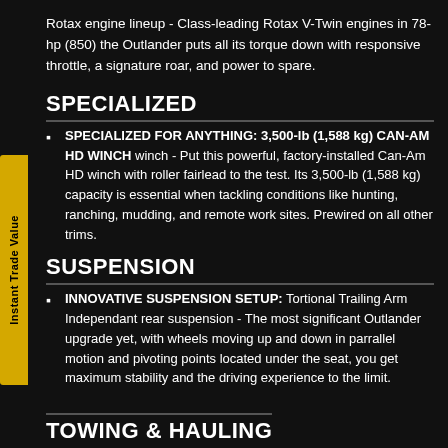Rotax engine lineup - Class-leading Rotax V-Twin engines in 78-hp (850) the Outlander puts all its torque down with responsive throttle, a signature roar, and power to spare.
SPECIALIZED
SPECIALIZED FOR ANYTHING: 3,500-lb (1,588 kg) CAN-AM HD WINCH winch - Put this powerful, factory-installed Can-Am HD winch with roller fairlead to the test. Its 3,500-lb (1,588 kg) capacity is essential when tackling conditions like hunting, ranching, mudding, and remote work sites. Prewired on all other trims.
SUSPENSION
INNOVATIVE SUSPENSION SETUP: Tortional Trailing Arm Independant rear suspension - The most significant Outlander upgrade yet, with wheels moving up and down in parrallel motion and pivoting points located under the seat, you get maximum stability and the driving experience to the limit.
TOWING & HAULING